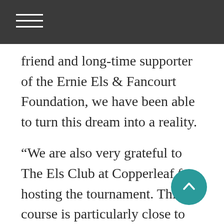friend and long-time supporter of the Ernie Els & Fancourt Foundation, we have been able to turn this dream into a reality.
“We are also very grateful to The Els Club at Copperleaf for hosting the tournament. This course is particularly close to my heart as it is built on land where my grandfather Ernie Vermaak once farmed. It has hosted the Tshwane Open, a tournament co-sanctioned by the European and Sunshine Tours, so certainly has the pedigree to host these young stars of the future.”
Faldo, who is keen to see the event grow, agreed.
“Ernie and I have long discussed an event which includes South Africa and further globalizes junior golf. We are planting an acorn and we expect an oak tree will grow. Our Faldo Series, which includes